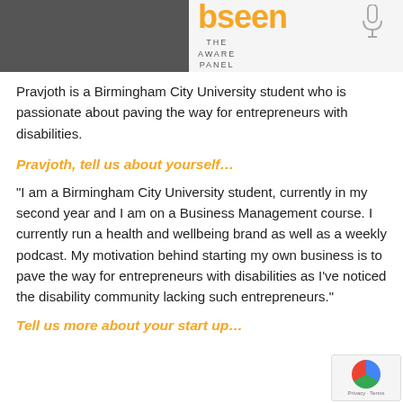[Figure (photo): Header image showing a person in a dark outfit on the left side, and the 'bseen' logo in orange text with a microphone icon and 'THE AWARE PANEL' text on the right side against a light background.]
Pravjoth is a Birmingham City University student who is passionate about paving the way for entrepreneurs with disabilities.
Pravjoth, tell us about yourself…
“I am a Birmingham City University student, currently in my second year and I am on a Business Management course. I currently run a health and wellbeing brand as well as a weekly podcast. My motivation behind starting my own business is to pave the way for entrepreneurs with disabilities as I’ve noticed the disability community lacking such entrepreneurs.”
Tell us more about your start up…